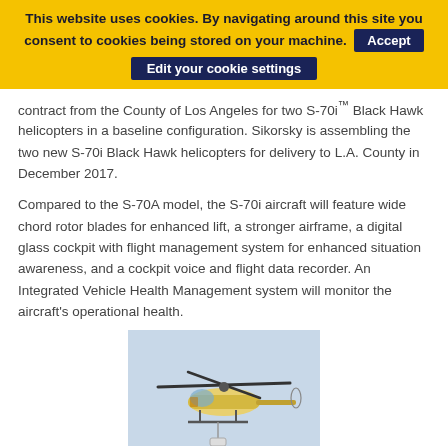This website uses cookies. By navigating around this site you consent to cookies being stored on your machine. [Accept] [Edit your cookie settings]
contract from the County of Los Angeles for two S-70i™ Black Hawk helicopters in a baseline configuration. Sikorsky is assembling the two new S-70i Black Hawk helicopters for delivery to L.A. County in December 2017.
Compared to the S-70A model, the S-70i aircraft will feature wide chord rotor blades for enhanced lift, a stronger airframe, a digital glass cockpit with flight management system for enhanced situation awareness, and a cockpit voice and flight data recorder. An Integrated Vehicle Health Management system will monitor the aircraft's operational health.
[Figure (photo): A Black Hawk helicopter in flight carrying a water bucket, against a pale sky background. The helicopter appears to be in yellow and white livery, likely an LA County fire/rescue aircraft.]